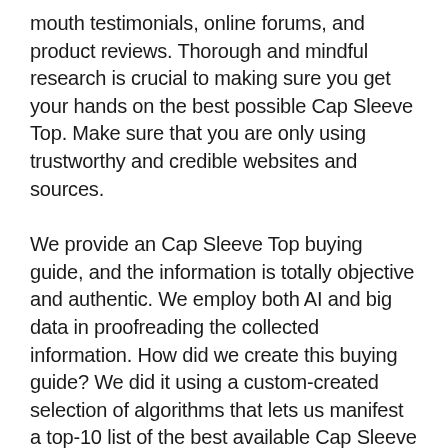mouth testimonials, online forums, and product reviews. Thorough and mindful research is crucial to making sure you get your hands on the best possible Cap Sleeve Top. Make sure that you are only using trustworthy and credible websites and sources.
We provide an Cap Sleeve Top buying guide, and the information is totally objective and authentic. We employ both AI and big data in proofreading the collected information. How did we create this buying guide? We did it using a custom-created selection of algorithms that lets us manifest a top-10 list of the best available Cap Sleeve Top currently available on the market.